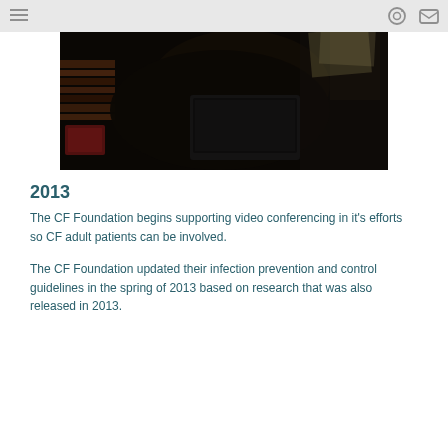[Figure (photo): Dark photograph showing a person seated at a table with a laptop/tablet device, taken in a dimly lit room. The image appears to show a video conferencing setup.]
2013
The CF Foundation begins supporting video conferencing in it's efforts so CF adult patients can be involved.
The CF Foundation updated their infection prevention and control guidelines in the spring of 2013 based on research that was also released in 2013.